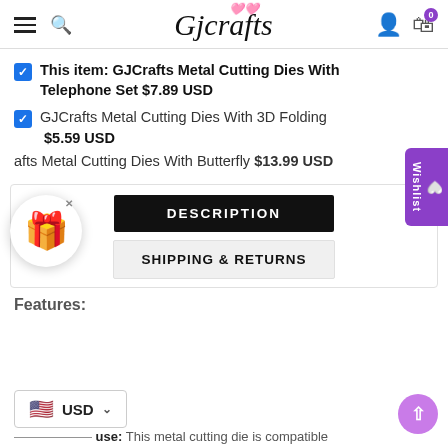GJCrafts website header with hamburger menu, search, logo, user icon, cart (0)
This item: GJCrafts Metal Cutting Dies With Telephone Set $7.89 USD
GJCrafts Metal Cutting Dies With 3D Folding $5.59 USD
afts Metal Cutting Dies With Butterfly $13.99 USD
DESCRIPTION
SHIPPING & RETURNS
Features:
Compatible use: This metal cutting die is compatible